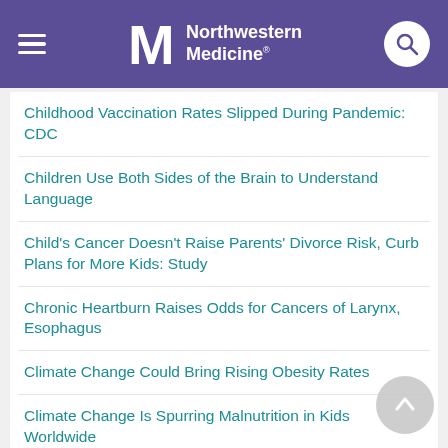Northwestern Medicine
Childhood Vaccination Rates Slipped During Pandemic: CDC
Children Use Both Sides of the Brain to Understand Language
Child's Cancer Doesn't Raise Parents' Divorce Risk, Curb Plans for More Kids: Study
Chronic Heartburn Raises Odds for Cancers of Larynx, Esophagus
Climate Change Could Bring Rising Obesity Rates
Climate Change Is Spurring Malnutrition in Kids Worldwide
Climate Change May Not Increase Allergies in Kids With Asthma: Study